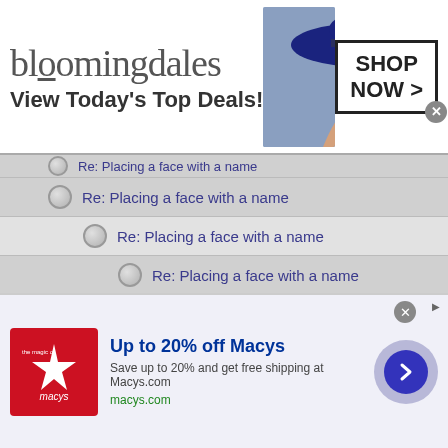[Figure (screenshot): Bloomingdales top advertisement banner: logo, 'View Today's Top Deals!', woman with hat image, SHOP NOW button]
Re: Placing a face with a name (partially visible, indented level 1)
Re: Placing a face with a name (indented level 1)
Re: Placing a face with a name (indented level 2)
Re: Placing a face with a name (indented level 3)
Re: Placing a face with a name (indented level 4)
Re: Placing a face with a name
Re: Placing a face with a name
Re: Placing a face with a name
Re: Placing a face with a name
Re: Placing a face with a name
Re: Placing a face with a name (partially visible)
[Figure (screenshot): Macys bottom advertisement: logo, 'Up to 20% off Macys', description text, macys.com URL, arrow button]